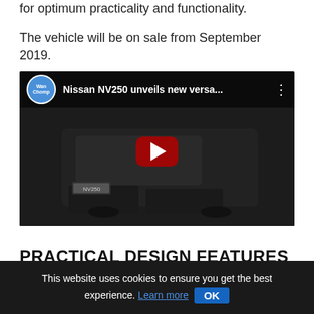for optimum practicality and functionality.
The vehicle will be on sale from September 2019.
[Figure (screenshot): YouTube video thumbnail showing a Nissan NV250 van from the rear in a dark setting, with a YouTube play button overlay. Video title reads 'Nissan NV250 unveils new versa...' with a WanChomp channel avatar.]
PRACTICAL DESIGN FEATURES
This website uses cookies to ensure you get the best experience. Learn more OK